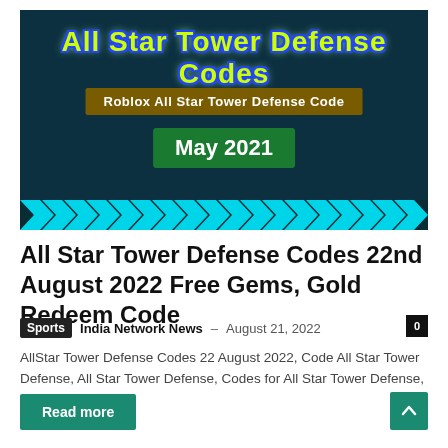[Figure (illustration): Dark teal/navy background banner image for 'All Star Tower Defense Codes'. Large yellow-green outlined title text at top reads 'All Star Tower Defense Codes'. Below that a brown/gold bar reads 'Roblox All Star Tower Defense Code'. Center shows a green box with 'May 2021'. Bottom border has cyan chevron pattern.]
All Star Tower Defense Codes 22nd August 2022 Free Gems, Gold Redeem Code
Sports  India Network News – August 21, 2022  0
AllStar Tower Defense Codes 22 August 2022, Code All Star Tower Defense, All Star Tower Defense, Codes for All Star Tower Defense, All Star...
Read more